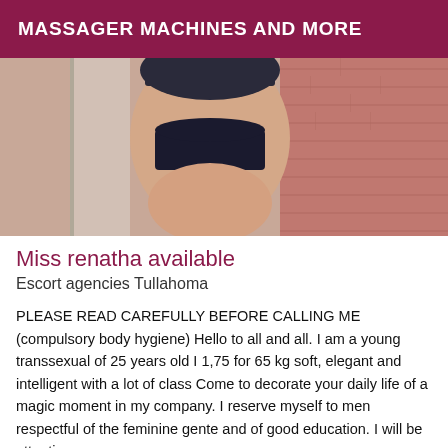MASSAGER MACHINES AND MORE
[Figure (photo): Photo of a person from behind wearing lingerie, standing near a brick wall]
Miss renatha available
Escort agencies Tullahoma
PLEASE READ CAREFULLY BEFORE CALLING ME (compulsory body hygiene) Hello to all and all. I am a young transsexual of 25 years old I 1,75 for 65 kg soft, elegant and intelligent with a lot of class Come to decorate your daily life of a magic moment in my company. I reserve myself to men respectful of the feminine gente and of good education. I will be attentive